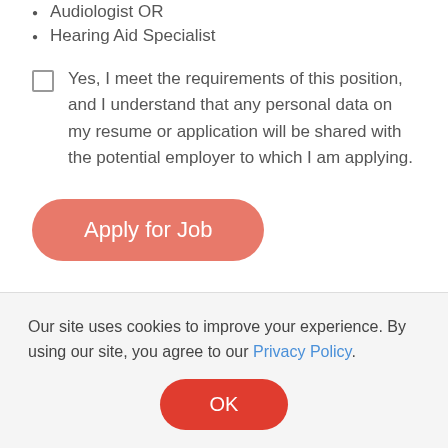Audiologist OR
Hearing Aid Specialist
Yes, I meet the requirements of this position, and I understand that any personal data on my resume or application will be shared with the potential employer to which I am applying.
Apply for Job
Contact
Our site uses cookies to improve your experience. By using our site, you agree to our Privacy Policy.
OK